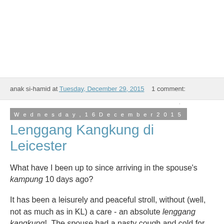anak si-hamid at Tuesday, December 29, 2015   1 comment:
Wednesday, 16 December 2015
Lenggang Kangkung di Leicester
What have I been up to since arriving in the spouse's kampung 10 days ago?
It has been a leisurely and peaceful stroll, without (well, not as much as in KL) a care - an absolute lenggang kangkung!  The spouse had a nasty cough and cold for the last 5 days but he's picking up sans any medication, just a good dose of sleep and rest.  As people in Malaysia like to put it - 'no